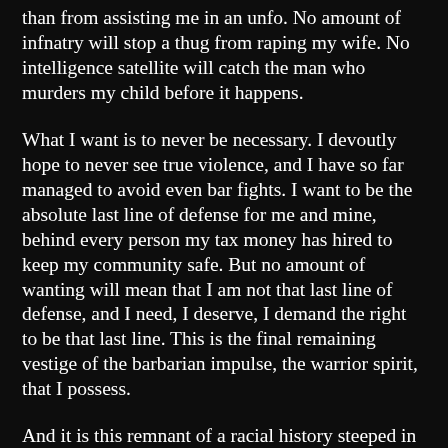than from assisting me in an unfo. No amount of infnatry will stop a thug from raping my wife. No intelligence satellite will catch the man who murders my child before it happens.
What I want is to never be necessary. I devoutly hope to never see true violence, and I have so far managed to avoid even bar fights. I want to be the absolute last line of defense for me and mine, behind every person my tax money has hired to keep my community safe. But no amount of wanting will mean that I am not that last line of defense, and I need, I deserve, I demand the right to be that last line. This is the final remaining vestige of the barbarian impulse, the warrior spirit, that I possess.
And it is this remnant of a racial history steeped in violence that they are trying to crush when they ask why I need guns. It is the warrior spirit that, whether intentionally or not, they are trying to wish out of existence, because it is the warrior spirit, the barbarian urge, that causes violent crime, terrorism, and